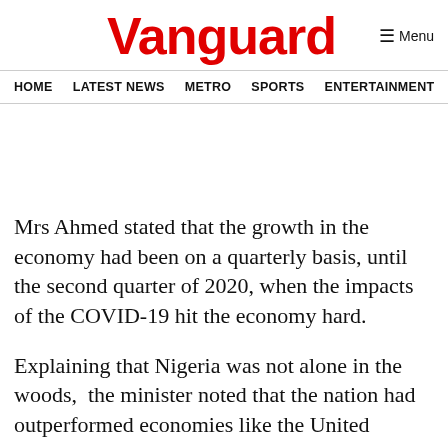Vanguard
HOME  LATEST NEWS  METRO  SPORTS  ENTERTAINMENT  VIDEOS
Mrs Ahmed stated that the growth in the economy had been on a quarterly basis, until the second quarter of 2020, when the impacts of the COVID-19 hit the economy hard.
Explaining that Nigeria was not alone in the woods,  the minister noted that the nation had outperformed economies like the United